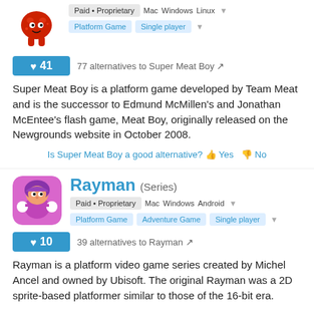[Figure (illustration): Super Meat Boy game icon - red meat character]
Paid • Proprietary  Mac  Windows  Linux
Platform Game  Single player
♥41  77 alternatives to Super Meat Boy
Super Meat Boy is a platform game developed by Team Meat and is the successor to Edmund McMillen's and Jonathan McEntee's flash game, Meat Boy, originally released on the Newgrounds website in October 2008.
Is Super Meat Boy a good alternative? 👍 Yes 👎 No
[Figure (illustration): Rayman game icon - purple/pink character with white gloves]
Rayman (Series)
Paid • Proprietary  Mac  Windows  Android
Platform Game  Adventure Game  Single player
♥10  39 alternatives to Rayman
Rayman is a platform video game series created by Michel Ancel and owned by Ubisoft. The original Rayman was a 2D sprite-based platformer similar to those of the 16-bit era.